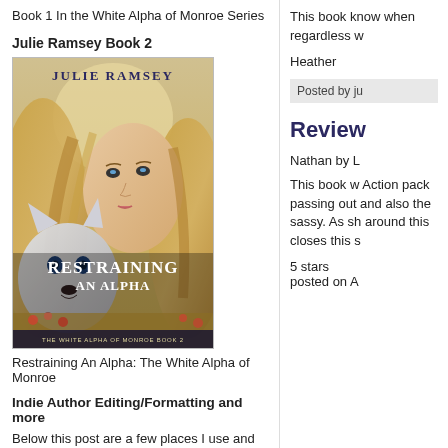Book 1 In the White Alpha of Monroe Series
Julie Ramsey Book 2
[Figure (illustration): Book cover for 'Restraining An Alpha: The White Alpha of Monroe Book 2' by Julie Ramsey, featuring a blonde woman and a white wolf]
Restraining An Alpha: The White Alpha of Monroe
Indie Author Editing/Formatting and more
Below this post are a few places I use and trust. i know them to be reliable and fair in pricing. Please
This book know when regardless w
Heather
Posted by ju
Review
Nathan by L
This book w Action pack passing out and also the sassy. As sh around this closes this s
5 stars
posted on A